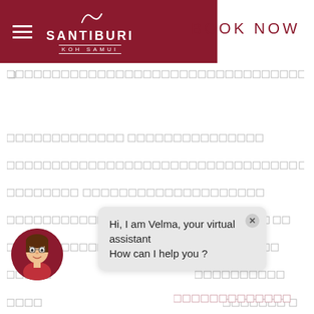SANTIBURI KOH SAMUI — BOOK NOW
[Figure (screenshot): Website screenshot of Santiburi Koh Samui hotel website with redacted text rows and a chatbot popup from virtual assistant Velma saying 'Hi, I am Velma, your virtual assistant How can I help you ?']
Hi, I am Velma, your virtual assistant How can I help you ?